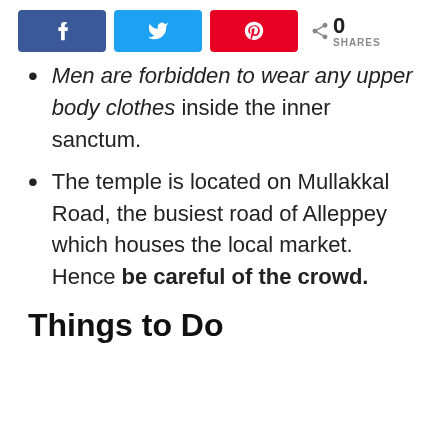Share buttons: Facebook, Twitter, Pinterest — 0 SHARES
Men are forbidden to wear any upper body clothes inside the inner sanctum.
The temple is located on Mullakkal Road, the busiest road of Alleppey which houses the local market. Hence be careful of the crowd.
Things to Do